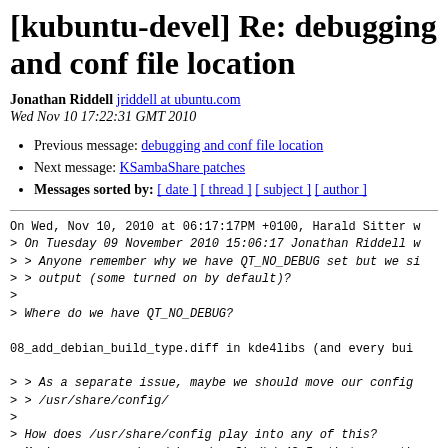[kubuntu-devel] Re: debugging and conf file location
Jonathan Riddell jriddell at ubuntu.com
Wed Nov 10 17:22:31 GMT 2010
Previous message: debugging and conf file location
Next message: KSambaShare patches
Messages sorted by: [ date ] [ thread ] [ subject ] [ author ]
On Wed, Nov 10, 2010 at 06:17:17PM +0100, Harald Sitter w
> On Tuesday 09 November 2010 15:06:17 Jonathan Riddell w
> > Anyone remember why we have QT_NO_DEBUG set but we si
> > output (some turned on by default)?
>
> Where do we have QT_NO_DEBUG?

08_add_debian_build_type.diff in kde4libs (and every bui

> > As a separate issue, maybe we should move our config
> > /usr/share/config/
>
> How does /usr/share/config play into any of this?
> Maybe you mean /usr/share/config/kde4? In that case the